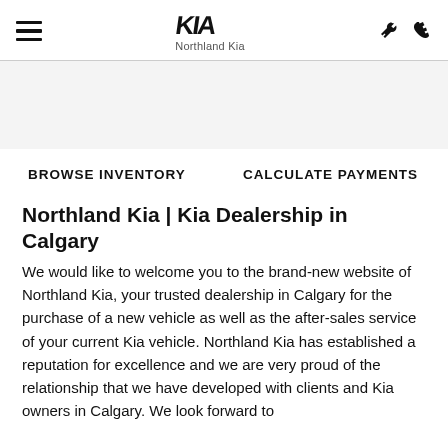Northland Kia
BROWSE INVENTORY    CALCULATE PAYMENTS
Northland Kia | Kia Dealership in Calgary
We would like to welcome you to the brand-new website of Northland Kia, your trusted dealership in Calgary for the purchase of a new vehicle as well as the after-sales service of your current Kia vehicle. Northland Kia has established a reputation for excellence and we are very proud of the relationship that we have developed with clients and Kia owners in Calgary. We look forward to